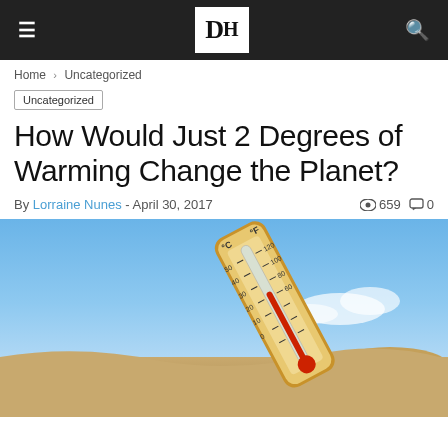≡  DH  🔍
Home › Uncategorized
Uncategorized
How Would Just 2 Degrees of Warming Change the Planet?
By Lorraine Nunes - April 30, 2017  👁 659  💬 0
[Figure (photo): A thermometer showing high temperatures placed in desert sand with blue sky background]